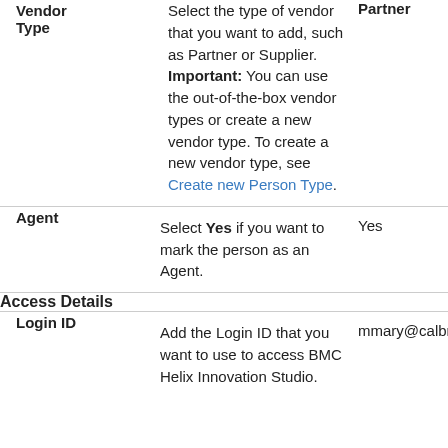| Field | Description | Example Value |
| --- | --- | --- |
| Vendor Type | Select the type of vendor that you want to add, such as Partner or Supplier. Important: You can use the out-of-the-box vendor types or create a new vendor type. To create a new vendor type, see Create new Person Type. | Partner |
| Agent | Select Yes if you want to mark the person as an Agent. | Yes |
| Access Details |  |  |
| Login ID | Add the Login ID that you want to use to access BMC Helix Innovation Studio. | mmary@calbr |